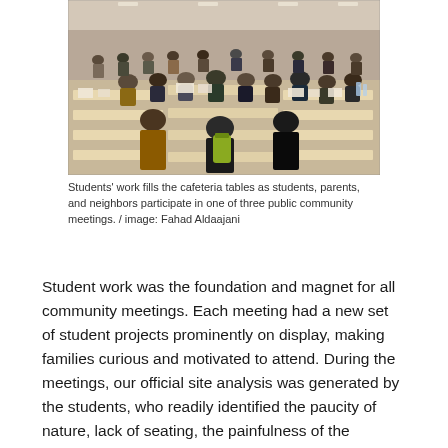[Figure (photo): Photograph of a school cafeteria filled with students, parents, and neighbors sitting at long tables covered with student work/projects. The view is from an elevated angle looking across the room.]
Students' work fills the cafeteria tables as students, parents, and neighbors participate in one of three public community meetings. / image: Fahad Aldaajani
Student work was the foundation and magnet for all community meetings. Each meeting had a new set of student projects prominently on display, making families curious and motivated to attend. During the meetings, our official site analysis was generated by the students, who readily identified the paucity of nature, lack of seating, the painfulness of the asphalt, and dominance of 'ball sports.' Our presentation of “What is Possible” centered on student themes expressed by the models and paintings on display.